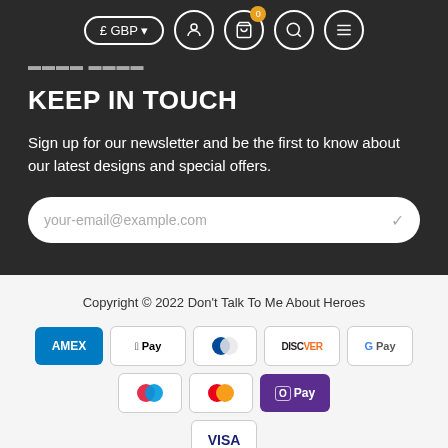£ GBP navigation bar with currency selector, user, cart (0), search, and menu icons
KEEP IN TOUCH
Sign up for our newsletter and be the first to know about our latest designs and special offers.
your-email@example.com
Copyright © 2022 Don't Talk To Me About Heroes
[Figure (other): Payment method logos: American Express, Apple Pay, Diners Club, Discover, Google Pay, Maestro, Mastercard, O Pay, Visa]